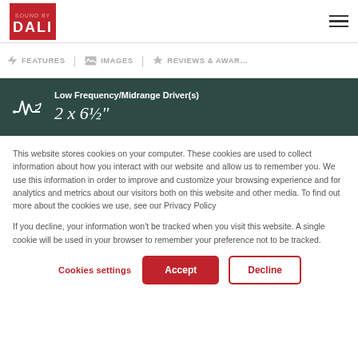[Figure (logo): DALI logo in red square]
Navigation bar with DALI logo and hamburger menu
FEATURES  IMAGES  REVIEWS & AWARDS
Low Frequency/Midrange Driver(s) — 2 x 6½"
This website stores cookies on your computer. These cookies are used to collect information about how you interact with our website and allow us to remember you. We use this information in order to improve and customize your browsing experience and for analytics and metrics about our visitors both on this website and other media. To find out more about the cookies we use, see our Privacy Policy

If you decline, your information won't be tracked when you visit this website. A single cookie will be used in your browser to remember your preference not to be tracked.
Cookies settings  Accept  Decline